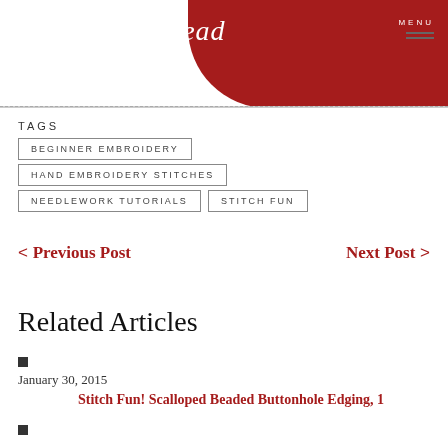Mary Corbet's Needle 'n Thread | MENU
TAGS
BEGINNER EMBROIDERY
HAND EMBROIDERY STITCHES
NEEDLEWORK TUTORIALS
STITCH FUN
< Previous Post
Next Post >
Related Articles
January 30, 2015
Stitch Fun! Scalloped Beaded Buttonhole Edging, 1